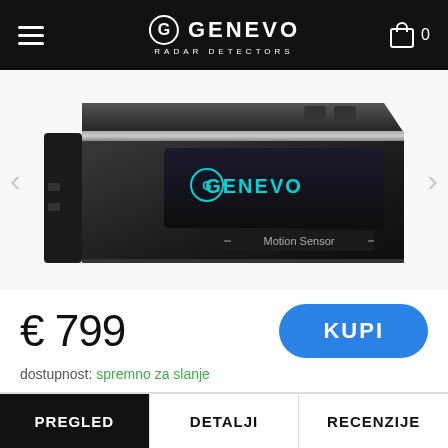GENEVO RADAR DETECTORS
[Figure (photo): Genevo radar detector device shown at an angle, displaying the GENEVO logo in teal/cyan on its screen and 'Motion Sensor' label visible on the front panel. The device is dark/black colored with buttons on top.]
€ 799
KUPI
dostupnost: spremno za slanje
PREGLED | DETALJI | RECENZIJE